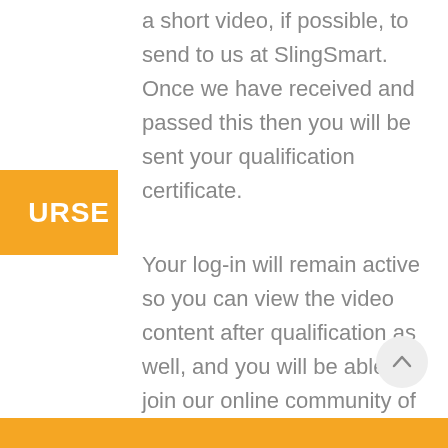a short video, if possible, to send to us at SlingSmart. Once we have received and passed this then you will be sent your qualification certificate.
Your log-in will remain active so you can view the video content after qualification as well, and you will be able to join our online community of SlingSmart trained Peer Supporters through our private Facebook group.